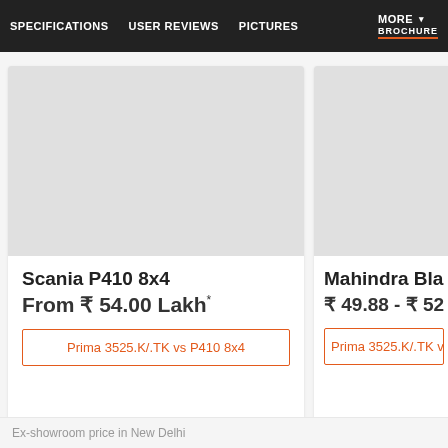SPECIFICATIONS | USER REVIEWS | PICTURES | MORE ▾ BROCHURE
[Figure (photo): Scania P410 8x4 vehicle image placeholder (grey box)]
Scania P410 8x4
From ₹ 54.00 Lakh*
Prima 3525.K/.TK vs P410 8x4
[Figure (photo): Mahindra Blazo X 3 vehicle image placeholder (grey box, partially visible)]
Mahindra Blazo X 3
₹ 49.88 - ₹ 52.00
Prima 3525.K/.TK vs Bla
Ex-showroom price in New Delhi